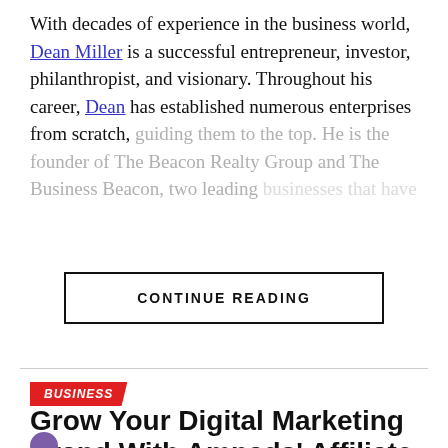With decades of experience in the business world, Dean Miller is a successful entrepreneur, investor, philanthropist, and visionary. Throughout his career, Dean has established numerous enterprises from scratch, guiding them to the top. He is the founder of The Beacon Realty Group and The Business Beacon, two leading [faded text continues]
CONTINUE READING
BUSINESS
Grow Your Digital Marketing Brand With Amnads' Affiliate Marketing App